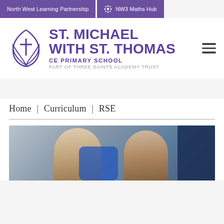North West Learning Partnership | NW3 Maths Hub
[Figure (logo): St. Michael with St. Thomas CE Primary School logo — purple cross and leaf emblem with school name and trust text]
Home | Curriculum | RSE
[Figure (photo): Two girls talking and smiling outdoors in a school playground, one with red/auburn hair in a ponytail]